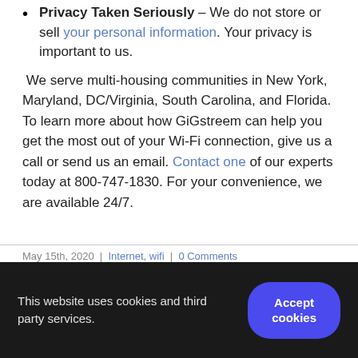Privacy Taken Seriously – We do not store or sell your personal information. Your privacy is important to us.
We serve multi-housing communities in New York, Maryland, DC/Virginia, South Carolina, and Florida. To learn more about how GiGstreem can help you get the most out of your Wi-Fi connection, give us a call or send us an email. Contact one of our experts today at 800-747-1830. For your convenience, we are available 24/7.
May 15th, 2020  |  Internet, wifi  |  0 Comments
This website uses cookies and third party services.